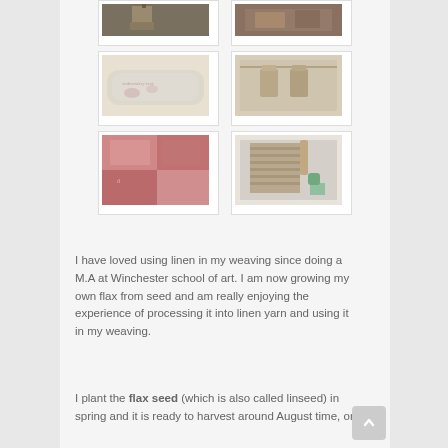[Figure (photo): Grid of 6 craft/textile photos arranged in 3 rows of 2: top row shows wooden stool and textured fabric, middle row shows embroidered linen cushion and hanging fabric with dress motifs, bottom row shows red/pink patterned textiles and wooden window/bathroom scene]
I have loved using linen in my weaving since doing a M.A at Winchester school of art. I am now growing my own flax from seed and am really enjoying the experience of processing it into linen yarn and using it in my weaving.
I plant the flax seed (which is also called linseed) in spring and it is ready to harvest around August time, or...